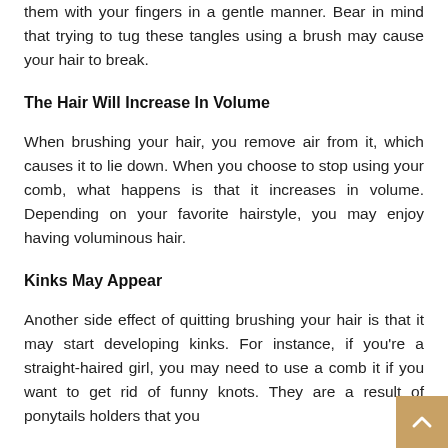them with your fingers in a gentle manner. Bear in mind that trying to tug these tangles using a brush may cause your hair to break.
The Hair Will Increase In Volume
When brushing your hair, you remove air from it, which causes it to lie down. When you choose to stop using your comb, what happens is that it increases in volume. Depending on your favorite hairstyle, you may enjoy having voluminous hair.
Kinks May Appear
Another side effect of quitting brushing your hair is that it may start developing kinks. For instance, if you're a straight-haired girl, you may need to use a comb it if you want to get rid of funny knots. They are a result of ponytails holders that you